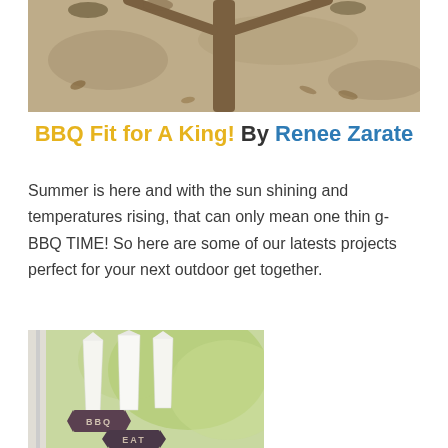[Figure (photo): Top photo showing sandy ground with tree branches and leaves]
BBQ Fit for A King! By Renee Zarate
Summer is here and with the sun shining and temperatures rising, that can only mean one thin g- BBQ TIME! So here are some of our latests projects perfect for your next outdoor get together.
[Figure (photo): Photo of white napkins folded upright in holders with dark ribbon tags reading BBQ and EAT, with blurred green trees in background]